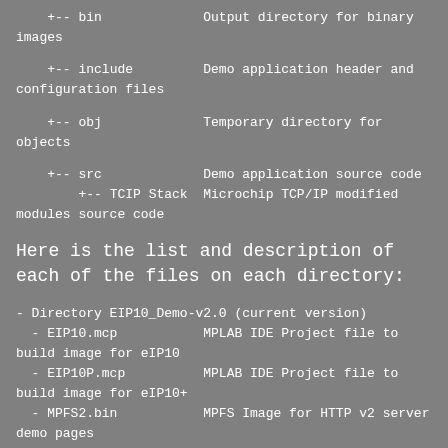+-- bin                Output directory for binary images
+-- include            Demo application header and configuration files
+-- obj                Temporary directory for objects
+-- src                Demo application source code
+-- TCIP Stack  Microchip TCP/IP modified modules source code
Here is the list and description of each of the files on each directory:
- Directory EIP10_Demo-v2.0 (current version)
- EIP10.mcp            MPLAB IDE Project file to build image for eIP10
- EIP10P.mcp           MPLAB IDE Project file to build image for eIP10+
- MPFS2.bin            MPFS Image for HTTP v2 server demo pages
- MPFS.bin             MPFS Image for legacy HTTP server demo pages